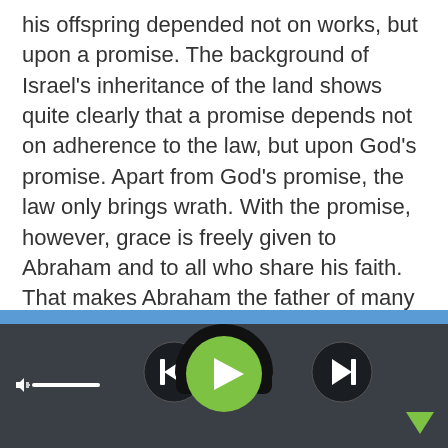his offspring depended not on works, but upon a promise. The background of Israel's inheritance of the land shows quite clearly that a promise depends not on adherence to the law, but upon God's promise. Apart from God's promise, the law only brings wrath. With the promise, however, grace is freely given to Abraham and to all who share his faith. That makes Abraham the father of many nations, not according to his physical family tree, but according to his faith. This faith of Abraham is faith in Jesus Christ, the God who created all things out of nothing and who gives life to the dead. Abraham trusted in this promise, because he in his old age and Sarah in her barrenness were as
[Figure (screenshot): Audio player controls bar with blue top strip, dark gray background, volume control on left, skip-back button, large green play button in center with headphones arc, skip-forward button, and a green down-arrow in bottom right.]